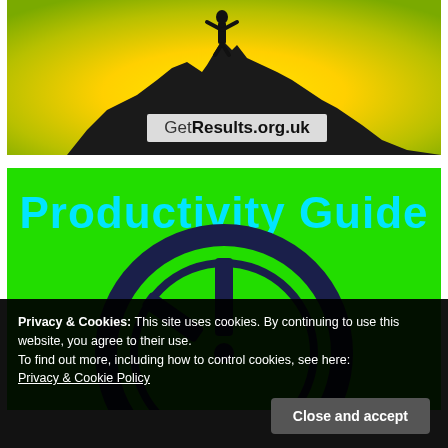[Figure (illustration): Silhouette of a person standing on top of a rocky mountain peak against a yellow-green gradient sky. Text overlay reads 'GetResults.org.uk' in a box at the bottom of the image.]
[Figure (illustration): Green background image with large cyan bold text 'Productivity Guide' at the top, and a large dark navy clock/timer graphic below.]
Privacy & Cookies: This site uses cookies. By continuing to use this website, you agree to their use.
To find out more, including how to control cookies, see here:
Privacy & Cookie Policy
Close and accept